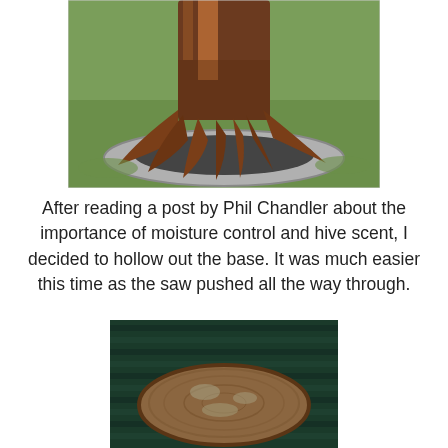[Figure (photo): Photo of the base of a large tree trunk with root flares, surrounded by a ring of stones. Green grass visible in background. Tree bark is dark reddish-brown.]
After reading a post by Phil Chandler about the importance of moisture control and hive scent, I decided to hollow out the base. It was much easier this time as the saw pushed all the way through.
[Figure (photo): Photo of a round wooden disc or log slice viewed from above, showing cross-section of wood grain. Dark corrugated background.]